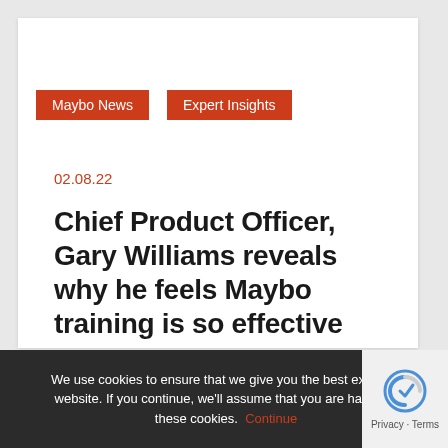Maybo News
Expert Insights
02.08.22
Chief Product Officer, Gary Williams reveals why he feels Maybo training is so effective
We use cookies to ensure that we give you the best experience on our website. If you continue, we'll assume that you are happy to receive these cookies. Continue